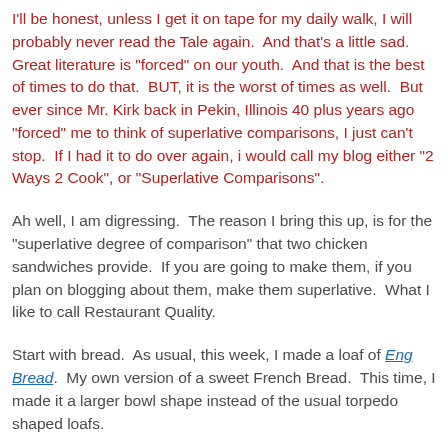I'll be honest, unless I get it on tape for my daily walk, I will probably never read the Tale again.  And that's a little sad.  Great literature is "forced" on our youth.  And that is the best of times to do that.  BUT, it is the worst of times as well.  But ever since Mr. Kirk back in Pekin, Illinois 40 plus years ago "forced" me to think of superlative comparisons, I just can't stop.  If I had it to do over again, i would call my blog either "2 Ways 2 Cook", or "Superlative Comparisons".
Ah well, I am digressing.  The reason I bring this up, is for the "superlative degree of comparison" that two chicken sandwiches provide.  If you are going to make them, if you plan on blogging about them, make them superlative.  What I like to call Restaurant Quality.
Start with bread.  As usual, this week, I made a loaf of Eng Bread.  My own version of a sweet French Bread.  This time, I made it a larger bowl shape instead of the usual torpedo shaped loafs.